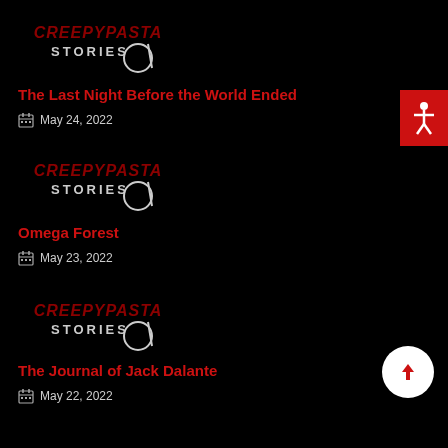[Figure (logo): Creepypasta Stories logo - black background with red horror-style text and circular design]
The Last Night Before the World Ended
May 24, 2022
[Figure (logo): Creepypasta Stories logo - black background with red horror-style text and circular design]
Omega Forest
May 23, 2022
[Figure (logo): Creepypasta Stories logo - black background with red horror-style text and circular design]
The Journal of Jack Dalante
May 22, 2022